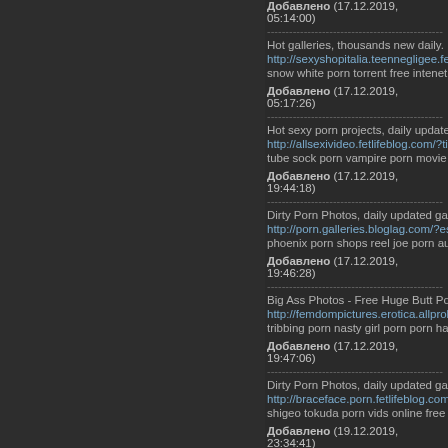Добавлено (17.12.2019, 05:14:00)
Hot galleries, thousands new daily.
http://sexyshopitalia.teennegligee.fetlifeblo...
snow white porn torrent free intenet teen po...
Добавлено (17.12.2019, 05:17:26)
Hot sexy porn projects, daily updates
http://allsexivideo.fetlifeblog.com/?tiana
tube sock porn vampire porn movie shyla st...
Добавлено (17.12.2019, 19:44:18)
Dirty Porn Photos, daily updated galleries
http://porn.galleries.bloglag.com/?esperanz...
phoenix porn shops reel joe porn auditons f...
Добавлено (17.12.2019, 19:46:28)
Big Ass Photos - Free Huge Butt Porn, Big b...
http://femdompictures.erotica.allproblog.com...
tribbing porn nasty girl porn porn hard cock...
Добавлено (17.12.2019, 19:47:06)
Dirty Porn Photos, daily updated galleries
http://braceface.porn.fetlifeblog.com/?victori...
shigeo tokuda porn vids online free amateur...
Добавлено (19.12.2019, 23:34:41)
Hot photo galleries blogs and pictures